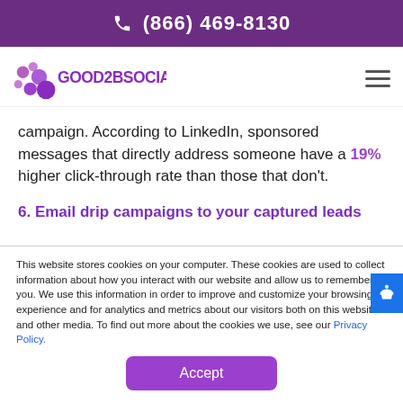(866) 469-8130
[Figure (logo): Good2BSocial logo with purple bubble circles and stylized text]
campaign. According to LinkedIn, sponsored messages that directly address someone have a 19% higher click-through rate than those that don't.
6. Email drip campaigns to your captured leads
This website stores cookies on your computer. These cookies are used to collect information about how you interact with our website and allow us to remember you. We use this information in order to improve and customize your browsing experience and for analytics and metrics about our visitors both on this website and other media. To find out more about the cookies we use, see our Privacy Policy.